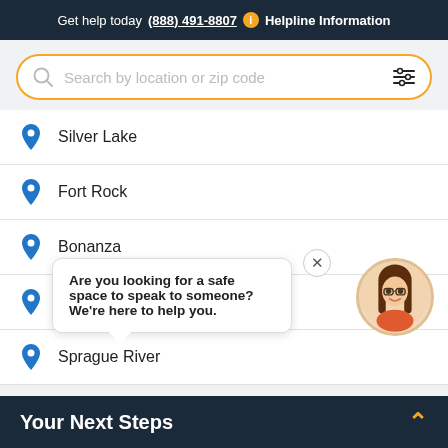Get help today (888) 491-8807  i  Helpline Information
[Figure (screenshot): Search box with gold border, magnifying glass icon, placeholder text 'Search by location or zip code', and a filter/sliders icon on the right]
Silver Lake
Fort Rock
Bonanza
[Figure (infographic): Chat popup bubble with close X button and female avatar. Text: 'Are you looking for a safe space to speak to someone? We're here to help you.']
Chiloqui
Sprague River
Your Next Steps